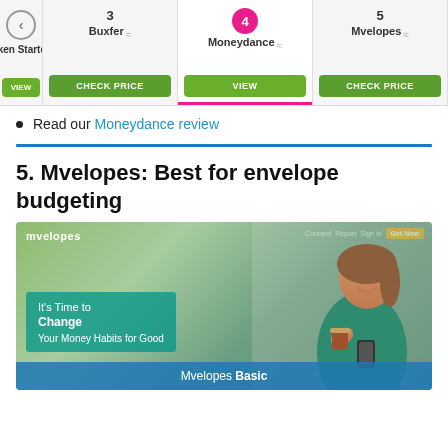[Figure (screenshot): Navigation tabs showing budgeting software options: (partial) cken Starter, 3 Buxfer (CHECK PRICE), 4 Moneydance active/selected (VIEW), 5 Mvelopes (CHECK PRICE)]
Read our Moneydance review
5. Mvelopes: Best for envelope budgeting
[Figure (screenshot): Mvelopes website screenshot showing a woman smiling and holding a phone and coffee cup, with text 'It's Time to Change Your Money Habits for Good', mvelopes logo top left, orange CTA button top right, and blue bar at bottom reading 'Mvelopes Basic']